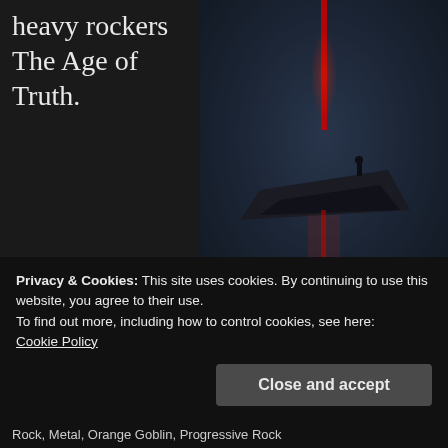heavy rockers The Age of Truth.
[Figure (photo): Dark atmospheric scene with a floating island/platform silhouetted against a misty dark blue-grey background, with a glowing red vertical light/beam and a small figure silhouette on the platform.]
Are you after some fluid grooves and engrossing riffs? Do you want good tunes delivered with an assured attitude? Looking for a band that are able to kick out the jams, but also have enough range and depth to keep
Privacy & Cookies: This site uses cookies. By continuing to use this website, you agree to their use.
To find out more, including how to control cookies, see here:
Cookie Policy
Close and accept
Rock, Metal, Orange Goblin, Progressive Rock